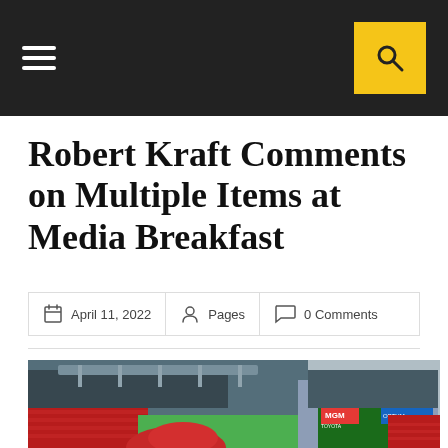Navigation bar with hamburger menu and search button
Robert Kraft Comments on Multiple Items at Media Breakfast
April 11, 2022  Pages  0 Comments
[Figure (photo): Aerial view of Gillette Stadium showing red seats, blue upper deck, and MGM/Toyota signage on the scoreboard]